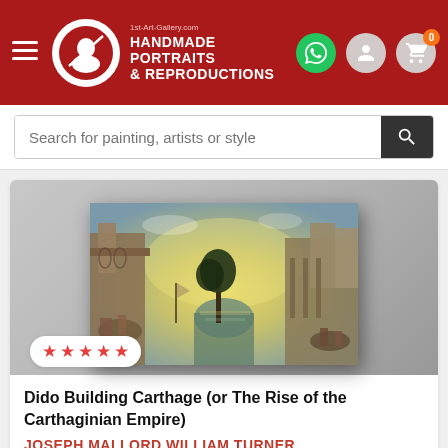[Figure (logo): 1st-Art-Gallery.com header with hamburger menu, circular logo with silhouette, brand text HANDMADE PORTRAITS & REPRODUCTIONS, and icons for WhatsApp, user account, and shopping cart with 0 badge]
Search for painting, artists or style
[Figure (photo): Painting: Dido Building Carthage (or The Rise of the Carthaginian Empire) by J.M.W. Turner — a classical landscape with buildings, water, trees, and figures in warm golden light]
★ ★ ★ ★ ★
Dido Building Carthage (or The Rise of the Carthaginian Empire)
JOSEPH MALLORD WILLIAM TURNER